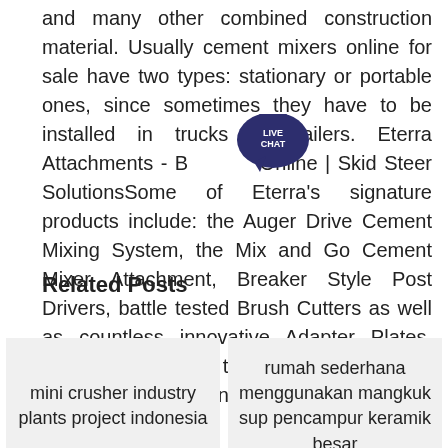and many other combined construction material. Usually cement mixers online for sale have two types: stationary or portable ones, since sometimes they have to be installed in trucks or trailers. Eterra Attachments - Buy Online | Skid Steer SolutionsSome of Eterra's signature products include: the Auger Drive Cement Mixing System, the Mix and Go Cement Mixer Attachment, Breaker Style Post Drivers, battle tested Brush Cutters as well as countless innovative Adapter Plates, allowing operators to combine just about any attachment to any machine.
Related Posts
mini crusher industry plants project indonesia
rumah sederhana menggunakan mangkuk sup pencampur keramik besar